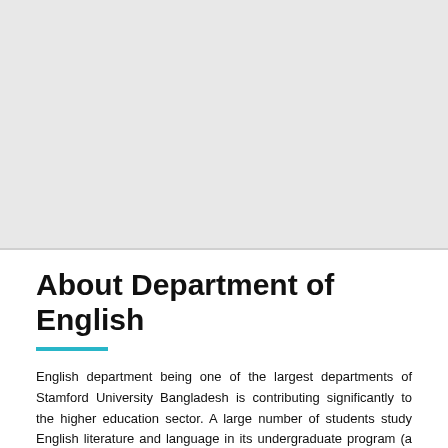[Figure (photo): Gray placeholder image area at the top of the page]
About Department of English
English department being one of the largest departments of Stamford University Bangladesh is contributing significantly to the higher education sector. A large number of students study English literature and language in its undergraduate program (a four-year Bachelor degree) and postgraduate program (a one & half-year Master's degree). The department is reputed for